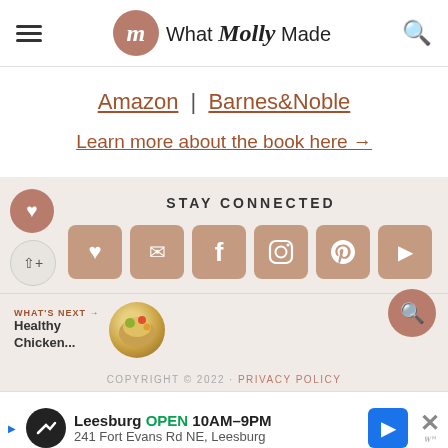What Molly Made
Amazon | Barnes&Noble
Learn more about the book here →
STAY CONNECTED
[Figure (infographic): Social media icon buttons: heart/favorites, email, Facebook, Instagram, Pinterest, YouTube]
WHAT'S NEXT → Healthy Chicken...
COPYRIGHT © 2022 · PRIVACY POLICY
[Figure (infographic): Advertisement banner: Leesburg OPEN 10AM-9PM, 241 Fort Evans Rd NE, Leesburg]